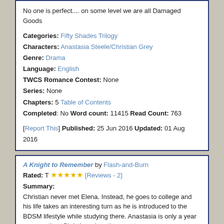No one is perfect.... on some level we are all Damaged Goods
Categories: Fifty Shades Trilogy Characters: Anastasia Steele/Christian Grey Genre: Drama Language: English TWCS Romance Contest: None Series: None Chapters: 5 Table of Contents Completed: No Word count: 11415 Read Count: 763
[Report This] Published: 25 Jun 2016 Updated: 01 Aug 2016
A Knight to Remember by Flash-and-Burn
Rated: T ★★★★★ [Reviews - 2]
Summary:
Christian never met Elena. Instead, he goes to college and his life takes an interesting turn as he is introduced to the BDSM lifestyle while studying there. Anastasia is only a year younger than Christian when they meet.